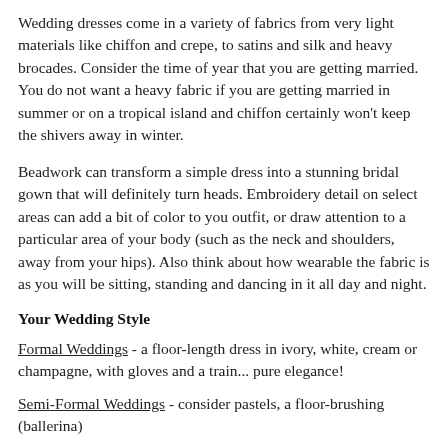Wedding dresses come in a variety of fabrics from very light materials like chiffon and crepe, to satins and silk and heavy brocades. Consider the time of year that you are getting married. You do not want a heavy fabric if you are getting married in summer or on a tropical island and chiffon certainly won't keep the shivers away in winter.
Beadwork can transform a simple dress into a stunning bridal gown that will definitely turn heads. Embroidery detail on select areas can add a bit of color to you outfit, or draw attention to a particular area of your body (such as the neck and shoulders, away from your hips). Also think about how wearable the fabric is as you will be sitting, standing and dancing in it all day and night.
Your Wedding Style
Formal Weddings - a floor-length dress in ivory, white, cream or champagne, with gloves and a train... pure elegance!
Semi-Formal Weddings - consider pastels, a floor-brushing (ballerina)